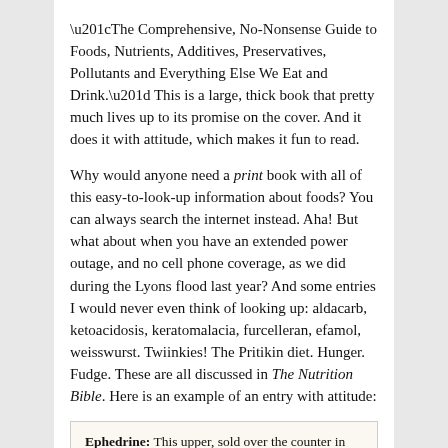“The Comprehensive, No-Nonsense Guide to Foods, Nutrients, Additives, Preservatives, Pollutants and Everything Else We Eat and Drink.” This is a large, thick book that pretty much lives up to its promise on the cover. And it does it with attitude, which makes it fun to read.
Why would anyone need a print book with all of this easy-to-look-up information about foods? You can always search the internet instead. Aha! But what about when you have an extended power outage, and no cell phone coverage, as we did during the Lyons flood last year? And some entries I would never even think of looking up: aldacarb, ketoacidosis, keratomalacia, furcelleran, efamol, weisswurst. Twiinkies! The Pritikin diet. Hunger. Fudge. These are all discussed in The Nutrition Bible. Here is an example of an entry with attitude:
Ephedrine: This upper, sold over the counter in pharmacies, sports shops and health-food stores across the land, masquerades under many names: HerbTrim, Mega Trim, Diet Man and Diet Pan, to name a few. Whatever its form...